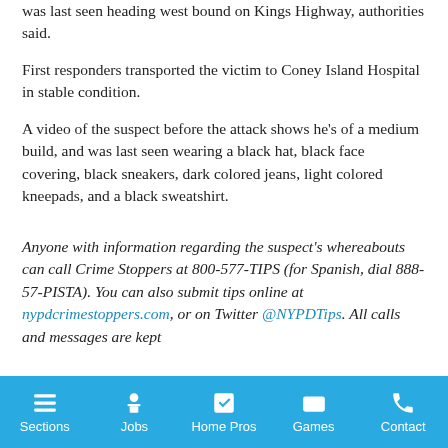was last seen heading west bound on Kings Highway, authorities said.
First responders transported the victim to Coney Island Hospital in stable condition.
A video of the suspect before the attack shows he’s of a medium build, and was last seen wearing a black hat, black face covering, black sneakers, dark colored jeans, light colored kneepads, and a black sweatshirt.
Anyone with information regarding the suspect’s whereabouts can call Crime Stoppers at 800-577-TIPS (for Spanish, dial 888-57-PISTA). You can also submit tips online at nypdcrimestoppers.com, or on Twitter @NYPDTips. All calls and messages are kept confidential.
Sections | Jobs | Home Pros | Games | Contact